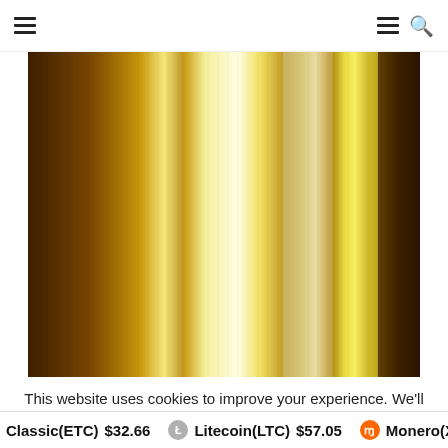Navigation bar with hamburger menu and search icon
[Figure (photo): Abstract vertical golden and brown striped gradient image with metallic shimmer effect]
This website uses cookies to improve your experience. We'll assume you're ok with this, but you can opt-out if you w
Classic(ETC) $32.66  Litecoin(LTC) $57.05  Monero(XM